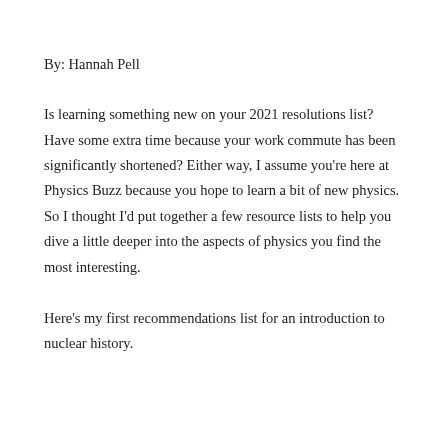By: Hannah Pell
Is learning something new on your 2021 resolutions list? Have some extra time because your work commute has been significantly shortened? Either way, I assume you're here at Physics Buzz because you hope to learn a bit of new physics. So I thought I'd put together a few resource lists to help you dive a little deeper into the aspects of physics you find the most interesting.
Here's my first recommendations list for an introduction to nuclear history.